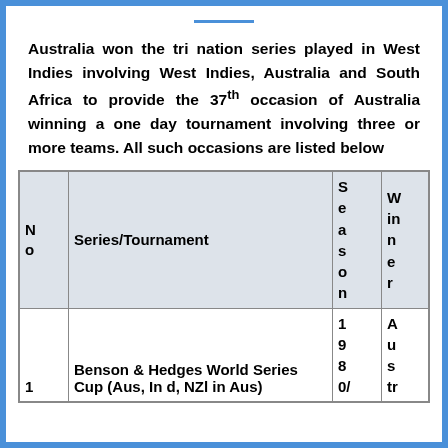Australia won the tri nation series played in West Indies involving West Indies, Australia and South Africa to provide the 37th occasion of Australia winning a one day tournament involving three or more teams. All such occasions are listed below
| No | Series/Tournament | Season | Winner |
| --- | --- | --- | --- |
| 1 | Benson & Hedges World Series Cup (Aus, Ind, NZl in Aus) | 1980/ | Austr |